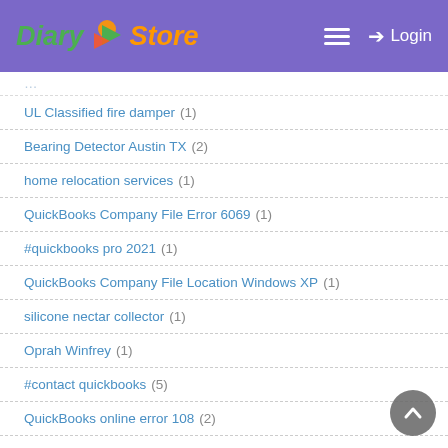Diary Store — Login
UL Classified fire damper (1)
Bearing Detector Austin TX (2)
home relocation services (1)
QuickBooks Company File Error 6069 (1)
#quickbooks pro 2021 (1)
QuickBooks Company File Location Windows XP (1)
silicone nectar collector (1)
Oprah Winfrey (1)
#contact quickbooks (5)
QuickBooks online error 108 (2)
QuickBooks Clean Install Tool to Fix Error 1328 (1)
Birmingham same day courier services (1)